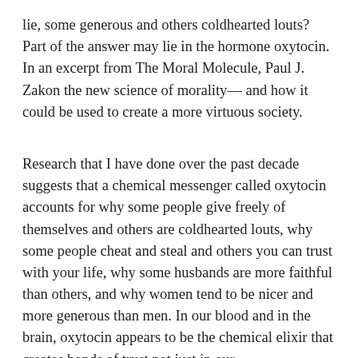lie, some generous and others coldhearted louts? Part of the answer may lie in the hormone oxytocin. In an excerpt from The Moral Molecule, Paul J. Zakon the new science of morality— and how it could be used to create a more virtuous society.
Research that I have done over the past decade suggests that a chemical messenger called oxytocin accounts for why some people give freely of themselves and others are coldhearted louts, why some people cheat and steal and others you can trust with your life, why some husbands are more faithful than others, and why women tend to be nicer and more generous than men. In our blood and in the brain, oxytocin appears to be the chemical elixir that creates bonds of trust not just in our